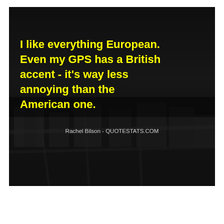[Figure (photo): Dark aerial/cityscape photo used as background for a quote image. The image shows a dark overhead view of a city at dusk or night, with buildings barely visible. Bold yellow text overlays the top portion with a quote, and gray attribution text appears below.]
I like everything European. Even my GPS has a British accent - it's way less annoying than the American one.
Rachel Bilson - QUOTESTATS.COM